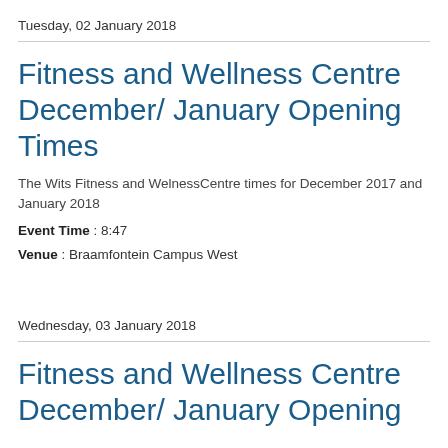Tuesday, 02 January 2018
Fitness and Wellness Centre December/ January Opening Times
The Wits Fitness and WelnessCentre times for December 2017 and January 2018
Event Time : 8:47
Venue : Braamfontein Campus West
Wednesday, 03 January 2018
Fitness and Wellness Centre December/ January Opening